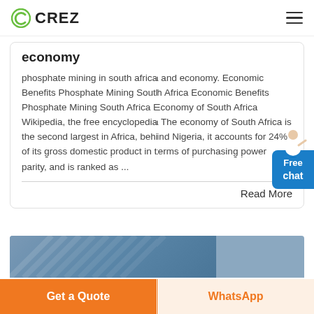CREZ
economy
phosphate mining in south africa and economy. Economic Benefits Phosphate Mining South Africa Economic Benefits Phosphate Mining South Africa Economy of South Africa Wikipedia, the free encyclopedia The economy of South Africa is the second largest in Africa, behind Nigeria, it accounts for 24% of its gross domestic product in terms of purchasing power parity, and is ranked as ...
Read More
[Figure (photo): Partial view of an architectural/building photo with blue-toned facade]
Get a Quote
WhatsApp